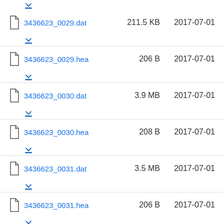3436623_0029.dat  211.5 KB  2017-07-01
3436623_0029.hea  206 B  2017-07-01
3436623_0030.dat  3.9 MB  2017-07-01
3436623_0030.hea  208 B  2017-07-01
3436623_0031.dat  3.5 MB  2017-07-01
3436623_0031.hea  206 B  2017-07-01
3436623_0032.dat  725.4 KB  2017-07-01
3436623_0032.hea